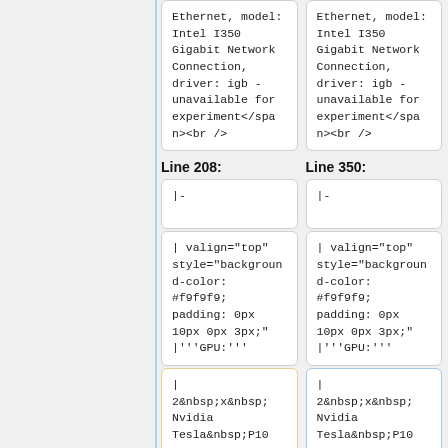Ethernet, model: Intel I350 Gigabit Network Connection, driver: igb - unavailable for experiment</span><br />
Ethernet, model: Intel I350 Gigabit Network Connection, driver: igb - unavailable for experiment</span><br />
Line 208:
Line 350:
|-
|-
| valign="top" style="background-color: #f9f9f9; padding: 0px 10px 0px 3px;" |'''GPU:'''
| valign="top" style="background-color: #f9f9f9; padding: 0px 10px 0px 3px;" |'''GPU:'''
| 2&nbsp;x&nbsp;Nvidia Tesla&nbsp;P10
| 2&nbsp;x&nbsp;Nvidia Tesla&nbsp;P10